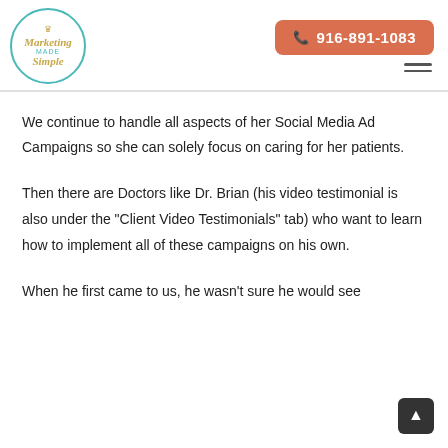[Figure (logo): Marketing Made Simple circular logo with teal border and gold script text]
[Figure (other): Phone button with number 916-891-1083 on salmon/orange background]
[Figure (other): Hamburger menu icon (three horizontal lines)]
We continue to handle all aspects of her Social Media Ad Campaigns so she can solely focus on caring for her patients.
Then there are Doctors like Dr. Brian (his video testimonial is also under the "Client Video Testimonials" tab) who want to learn how to implement all of these campaigns on his own.
When he first came to us, he wasn't sure he would see